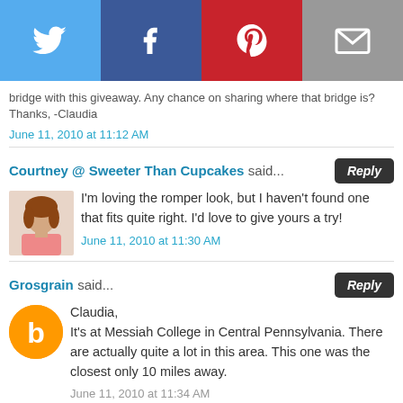[Figure (infographic): Social share bar with four buttons: Twitter (blue bird icon), Facebook (blue f icon), Pinterest (red P icon), Email (grey envelope icon)]
bridge with this giveaway. Any chance on sharing where that bridge is? Thanks, -Claudia
June 11, 2010 at 11:12 AM
Courtney @ Sweeter Than Cupcakes said...
I'm loving the romper look, but I haven't found one that fits quite right. I'd love to give yours a try!
June 11, 2010 at 11:30 AM
Grosgrain said...
Claudia,
It's at Messiah College in Central Pennsylvania. There are actually quite a lot in this area. This one was the closest only 10 miles away.
June 11, 2010 at 11:34 AM